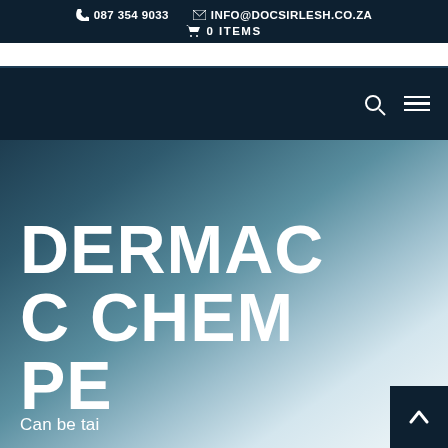087 354 9033   INFO@DOCSIRLESH.CO.ZA   0 ITEMS
[Figure (screenshot): Navigation bar with search icon and hamburger menu on dark navy background]
DERMAC C CHEM PE
Can be tai